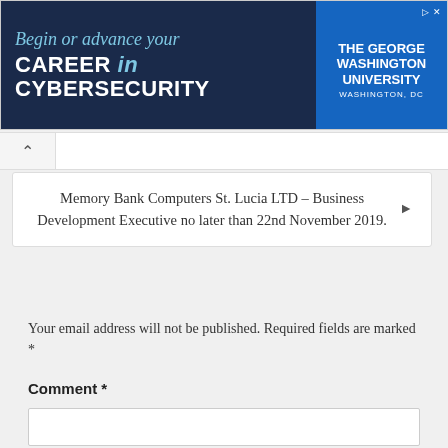[Figure (infographic): Advertisement banner for The George Washington University cybersecurity program. Left side has dark navy background with text 'Begin or advance your CAREER in CYBERSECURITY' in light blue and white. Right side has blue background with university name and Washington DC.]
Memory Bank Computers St. Lucia LTD – Business Development Executive no later than 22nd November 2019.
Your email address will not be published. Required fields are marked *
Comment *